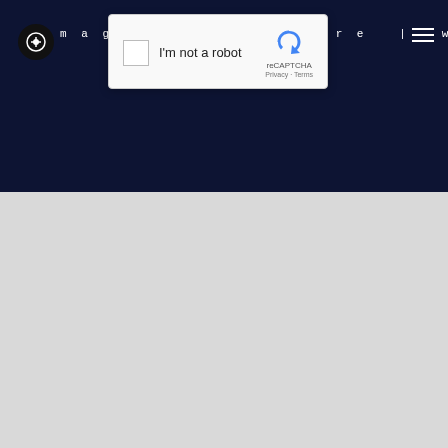[Figure (screenshot): Website header for Maggie's Centre West London with dark navy background, circular logo on left, site title in monospaced text, hamburger menu on right, and a reCAPTCHA 'I'm not a robot' overlay dialog in the center]
[Figure (screenshot): Light grey blank content area below the header, representing the page body with no loaded content]